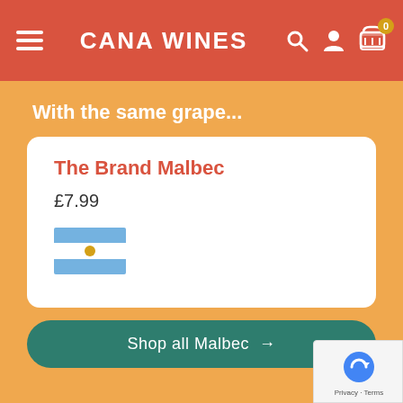CANA WINES
With the same grape...
The Brand Malbec
£7.99
[Figure (illustration): Argentina flag with light blue and white horizontal stripes and a sun emblem in the center]
Shop all Malbec →